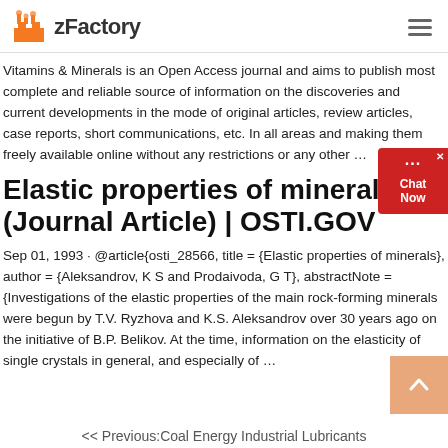zFactory
Vitamins & Minerals is an Open Access journal and aims to publish most complete and reliable source of information on the discoveries and current developments in the mode of original articles, review articles, case reports, short communications, etc. In all areas and making them freely available online without any restrictions or any other …
Elastic properties of minerals (Journal Article) | OSTI.GOV
Sep 01, 1993 · @article{osti_28566, title = {Elastic properties of minerals}, author = {Aleksandrov, K S and Prodaivoda, G T}, abstractNote = {Investigations of the elastic properties of the main rock-forming minerals were begun by T.V. Ryzhova and K.S. Aleksandrov over 30 years ago on the initiative of B.P. Belikov. At the time, information on the elasticity of single crystals in general, and especially of …
<< Previous:Coal Energy Industrial Lubricants